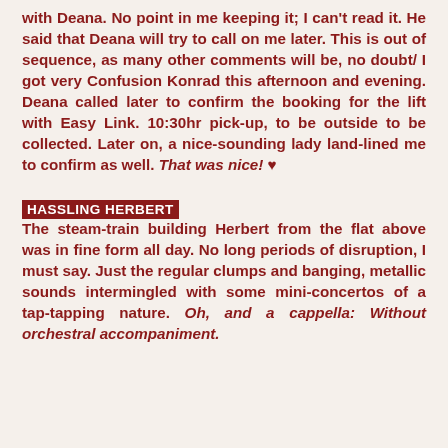with Deana. No point in me keeping it; I can't read it. He said that Deana will try to call on me later. This is out of sequence, as many other comments will be, no doubt/ I got very Confusion Konrad this afternoon and evening. Deana called later to confirm the booking for the lift with Easy Link. 10:30hr pick-up, to be outside to be collected. Later on, a nice-sounding lady land-lined me to confirm as well. That was nice! ♥
HASSLING HERBERT
The steam-train building Herbert from the flat above was in fine form all day. No long periods of disruption, I must say. Just the regular clumps and banging, metallic sounds intermingled with some mini-concertos of a tap-tapping nature. Oh, and a cappella: Without orchestral accompaniment.